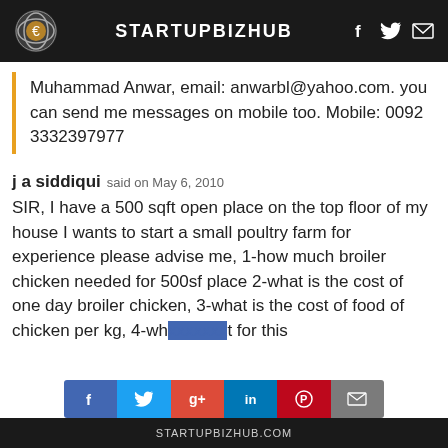STARTUPBIZHUB
Muhammad Anwar, email: anwarbl@yahoo.com. you can send me messages on mobile too. Mobile: 0092 3332397977
j a siddiqui said on May 6, 2010
SIR, I have a 500 sqft open place on the top floor of my house I wants to start a small poultry farm for experience please advise me, 1-how much broiler chicken needed for 500sf place 2-what is the cost of one day broiler chicken, 3-what is the cost of food of chicken per kg, 4-wh... t for this